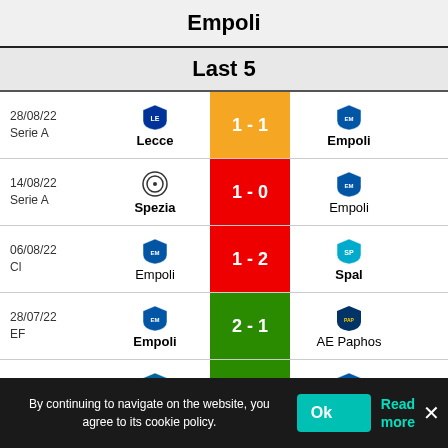Empoli
Last 5
| Date/Competition | Home Team | Score | Away Team |
| --- | --- | --- | --- |
| 28/08/22
Serie A | Lecce | 1-1 | Empoli |
| 14/08/22
Serie A | Spezia | 1-0 | Empoli |
| 06/08/22
Cl | Empoli | 1-2 | Spal |
| 28/07/22
EF | Empoli | 2-1 | AE Paphos |
| 21/05/22
Serie A | Atalanta | 0-1 | Empoli |
Fiorentina
By continuing to navigate on the website, you agree to its cookie policy.
Ok
Read more
×